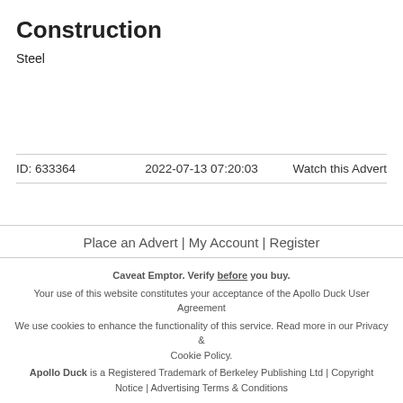Construction
Steel
ID: 633364   2022-07-13 07:20:03   Watch this Advert
Place an Advert | My Account | Register
Caveat Emptor. Verify before you buy. Your use of this website constitutes your acceptance of the Apollo Duck User Agreement. We use cookies to enhance the functionality of this service. Read more in our Privacy & Cookie Policy. Apollo Duck is a Registered Trademark of Berkeley Publishing Ltd | Copyright Notice | Advertising Terms & Conditions